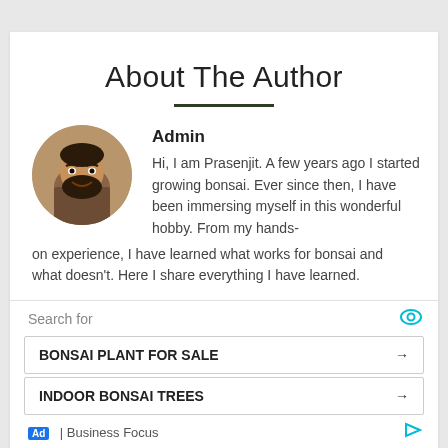About The Author
Admin
Hi, I am Prasenjit. A few years ago I started growing bonsai. Ever since then, I have been immersing myself in this wonderful hobby. From my hands-on experience, I have learned what works for bonsai and what doesn't. Here I share everything I have learned.
[Figure (other): Circular profile photo of a bearded man smiling]
Search for
BONSAI PLANT FOR SALE
INDOOR BONSAI TREES
Ad | Business Focus